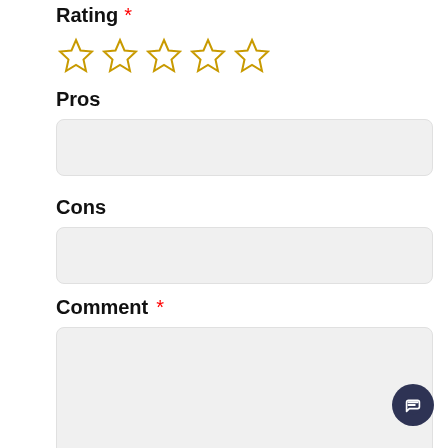Rating *
[Figure (illustration): Five empty star rating icons in gold/orange outline]
Pros
[Figure (screenshot): Empty text input box for Pros]
Cons
[Figure (screenshot): Empty text input box for Cons]
Comment *
[Figure (screenshot): Large empty textarea for Comment]